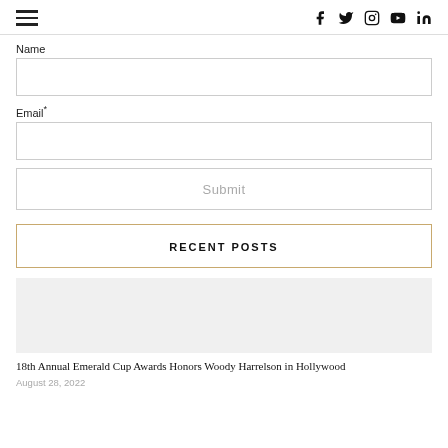Navigation menu and social icons (Facebook, Twitter, Instagram, YouTube, LinkedIn)
Name
Email*
Submit
RECENT POSTS
[Figure (photo): Thumbnail image placeholder for blog post]
18th Annual Emerald Cup Awards Honors Woody Harrelson in Hollywood
August 28, 2022